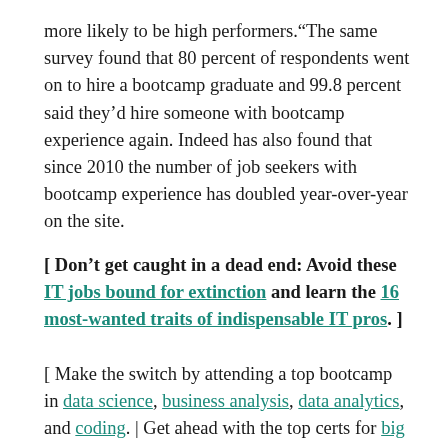more likely to be high performers.“The same survey found that 80 percent of respondents went on to hire a bootcamp graduate and 99.8 percent said they’d hire someone with bootcamp experience again. Indeed has also found that since 2010 the number of job seekers with bootcamp experience has doubled year-over-year on the site.
[ Don’t get caught in a dead end: Avoid these IT jobs bound for extinction and learn the 16 most-wanted traits of indispensable IT pros. ]
[ Make the switch by attending a top bootcamp in data science, business analysis, data analytics, and coding. | Get ahead with the top certs for big